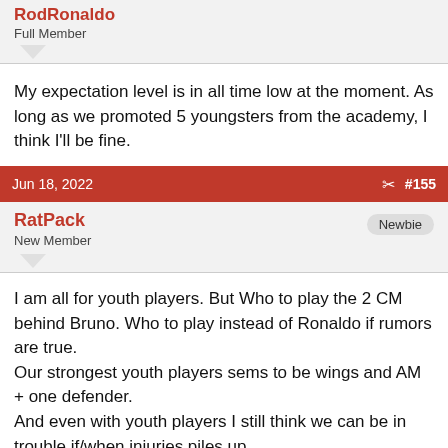RodRonaldo
Full Member
My expectation level is in all time low at the moment. As long as we promoted 5 youngsters from the academy, I think I'll be fine.
Jun 18, 2022  #155
RatPack
New Member
Newbie
I am all for youth players. But Who to play the 2 CM behind Bruno. Who to play instead of Ronaldo if rumors are true.
Our strongest youth players sems to be wings and AM + one defender.
And even with youth players I still think we can be in trouble if/when injuries piles up.